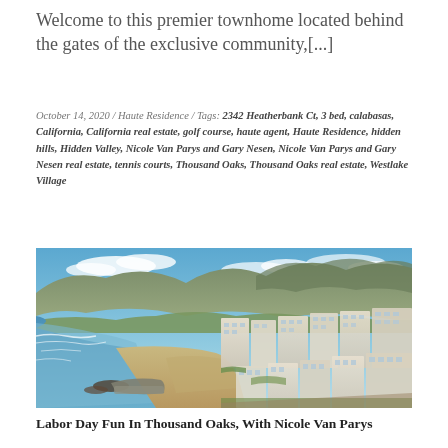Welcome to this premier townhome located behind the gates of the exclusive community,[...]
October 14, 2020 / Haute Residence / Tags: 2342 Heatherbank Ct, 3 bed, calabasas, California, California real estate, golf course, haute agent, Haute Residence, hidden hills, Hidden Valley, Nicole Van Parys and Gary Nesen, Nicole Van Parys and Gary Nesen real estate, tennis courts, Thousand Oaks, Thousand Oaks real estate, Westlake Village
[Figure (photo): Aerial coastal photograph showing a beach with ocean waves on the left, sandy shore, residential buildings/townhomes on the right, and mountains in the background under a partly cloudy sky.]
Labor Day Fun In Thousand Oaks, With Nicole Van Parys